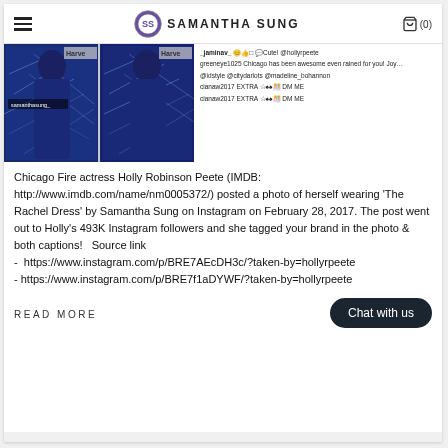SAMANTHA SUNG
[Figure (screenshot): Instagram post showing Holly Robinson Peete in a blue dress at an event with Harvey branding, alongside Instagram comments]
Chicago Fire actress Holly Robinson Peete (IMDB: http://www.imdb.com/name/nm0005372/) posted a photo of herself wearing 'The Rachel Dress' by Samantha Sung on Instagram on February 28, 2017. The post went out to Holly's 493K Instagram followers and she tagged your brand in the photo & both captions!   Source link
-  https://www.instagram.com/p/BRE7AEcDH3c/?taken-by=hollyrpeete
- https://www.instagram.com/p/BRE7f1aDYWF/?taken-by=hollyrpeete
READ MORE